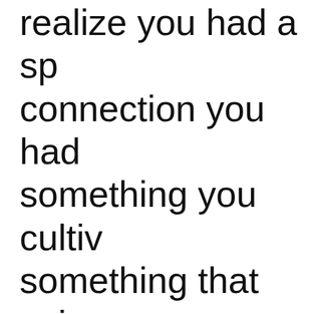realize you had a sp connection you had something you cultiv something that exis It is so important for connection, to unde is possible. I had no with nature or spiritu